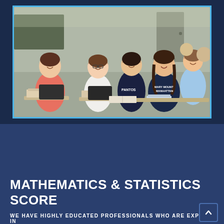[Figure (photo): Students sitting in a classroom at desks, smiling and engaged. Multiple students visible including girls and boys, with notebooks and binders on their desks. Photo framed with a light blue border on a dark navy background.]
MATHEMATICS & STATISTICS SCORE
WE HAVE HIGHLY EDUCATED PROFESSIONALS WHO ARE EXPERT IN